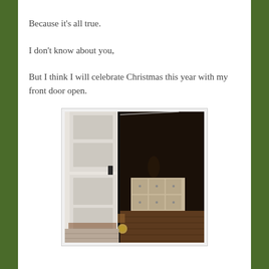Because it’s all true.
I don’t know about you,
But I think I will celebrate Christmas this year with my front door open.
[Figure (photo): A white front door partially open, showing a dark interior room with a dresser/cabinet visible in the background and hardwood floors. The door has a black handle and visible weathering/rust at the bottom hinges. A doorknob is visible at the lower right.]